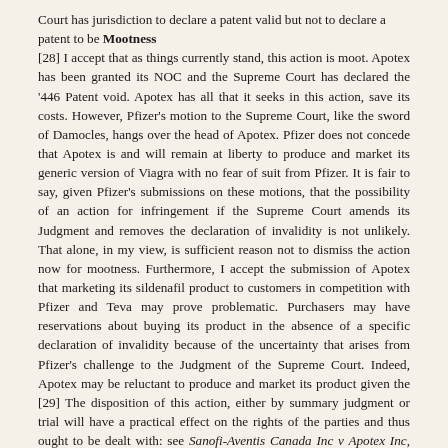Court has jurisdiction to declare a patent valid but not to declare a patent to be Mootness
Mootness
[28] I accept that as things currently stand, this action is moot. Apotex has been granted its NOC and the Supreme Court has declared the '446 Patent void. Apotex has all that it seeks in this action, save its costs. However, Pfizer's motion to the Supreme Court, like the sword of Damocles, hangs over the head of Apotex. Pfizer does not concede that Apotex is and will remain at liberty to produce and market its generic version of Viagra with no fear of suit from Pfizer. It is fair to say, given Pfizer's submissions on these motions, that the possibility of an action for infringement if the Supreme Court amends its Judgment and removes the declaration of invalidity is not unlikely. That alone, in my view, is sufficient reason not to dismiss the action now for mootness. Furthermore, I accept the submission of Apotex that marketing its sildenafil product to customers in competition with Pfizer and Teva may prove problematic. Purchasers may have reservations about buying its product in the absence of a specific declaration of invalidity because of the uncertainty that arises from Pfizer's challenge to the Judgment of the Supreme Court. Indeed, Apotex may be reluctant to produce and market its product given the [29] The disposition of this action, either by summary judgment or trial will have a practical effect on the rights of the parties and thus ought to be dealt with: see Sanofi-Aventis Canada Inc v Apotex Inc, 2006 FCA 328 at para 21.
Motion for Summary Judgment
[30] For the reasons that follow, the determination by the Supreme Court in its Reasons that the '446 Patent fails to meet the requirement of sufficient disclosure pursuant to subsection 27(3) of the Patent Act is a legal determination binding on this